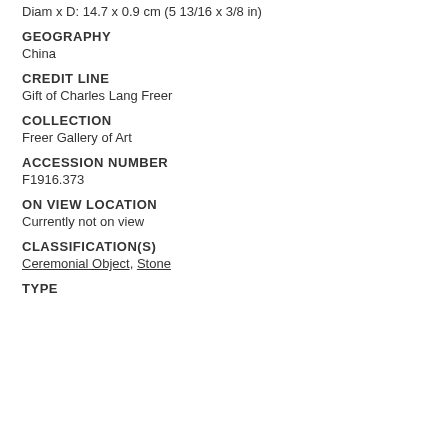Diam x D: 14.7 x 0.9 cm (5 13/16 x 3/8 in)
GEOGRAPHY
China
CREDIT LINE
Gift of Charles Lang Freer
COLLECTION
Freer Gallery of Art
ACCESSION NUMBER
F1916.373
ON VIEW LOCATION
Currently not on view
CLASSIFICATION(S)
Ceremonial Object, Stone
TYPE